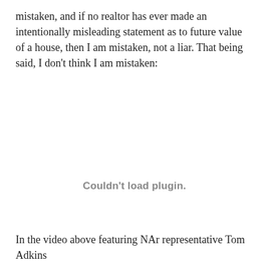mistaken, and if no realtor has ever made an intentionally misleading statement as to future value of a house, then I am mistaken, not a liar. That being said, I don't think I am mistaken:
[Figure (other): Embedded video plugin placeholder showing 'Couldn't load plugin.']
In the video above featuring NAr representative Tom Adkins